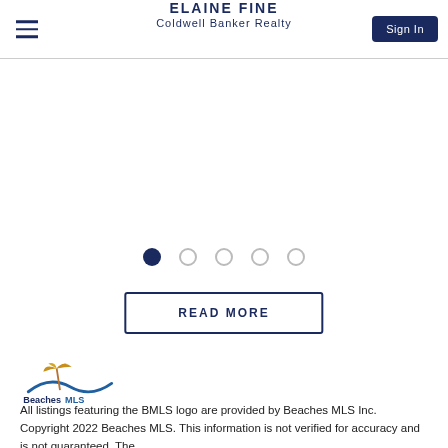ELAINE FINE
Coldwell Banker Realty
[Figure (other): Carousel dots: one filled navy circle and four empty circles indicating slideshow position]
READ MORE
[Figure (logo): Beaches MLS logo with wave and palm tree icon]
All listings featuring the BMLS logo are provided by Beaches MLS Inc. Copyright 2022 Beaches MLS. This information is not verified for accuracy and is not guaranteed. The